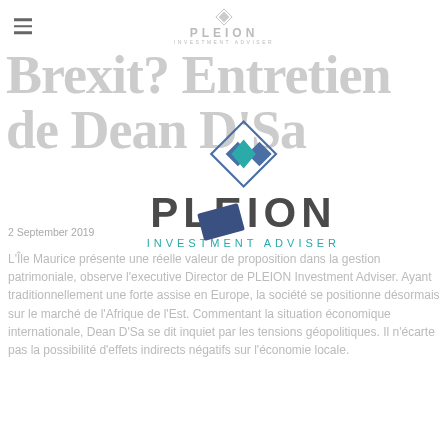PLEION INVESTMENT ADVISER
Brexit? Entretien de Dean D'Sa
[Figure (logo): PLEION Investment Adviser logo — diamond/rhombus icon in blue and teal, with PLEION in large bold grey and INVESTMENT ADVISER in teal below]
2 September 2019
L'Île Maurice présente une réelle valeur de proposition dans la gestion patrimoniale, observe l'executive Director de PLEION Investment Adviser. Ayant traditionnellement une forte assise en Europe, la société se positionne désormais sur le marché de l'Afrique de l'Est. Commentant la situation économique internationale, Dean D'Sa se dit inquiet par les tensions géopolitiques. Il n'écarte pas la possibilité d'effets indirects négatifs sur l'économie locale.